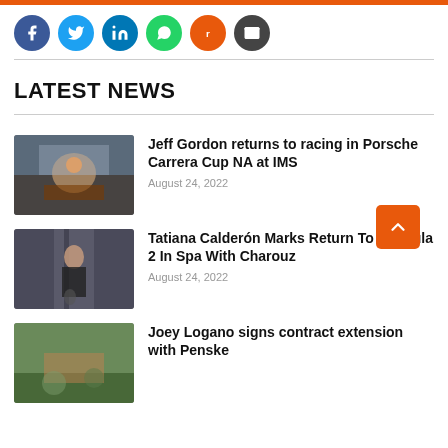[Figure (infographic): Social share buttons: Facebook (blue), Twitter (light blue), LinkedIn (blue), WhatsApp (green), Reddit (orange), Email (dark gray), all circular]
LATEST NEWS
[Figure (photo): Racing car event with crowd celebrating, Jeff Gordon raising arms]
Jeff Gordon returns to racing in Porsche Carrera Cup NA at IMS
August 24, 2022
[Figure (photo): Woman in black outfit standing in a corridor with a child]
Tatiana Calderón Marks Return To Formula 2 In Spa With Charouz
August 24, 2022
[Figure (photo): Racing scene outdoors with trees in background]
Joey Logano signs contract extension with Penske